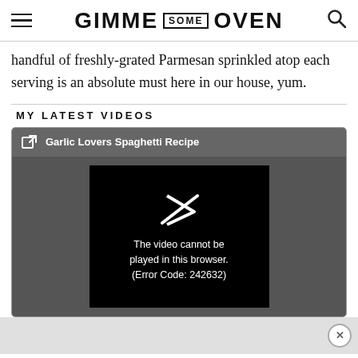GIMME SOME OVEN
handful of freshly-grated Parmesan sprinkled atop each serving is an absolute must here in our house, yum.
MY LATEST VIDEOS
[Figure (screenshot): Video player widget with dark gray title bar showing external link icon and title 'Garlic Lovers Spaghetti Recipe'. The video area shows a black screen with a play arrow icon and error message: 'The video cannot be played in this browser. (Error Code: 242632)']